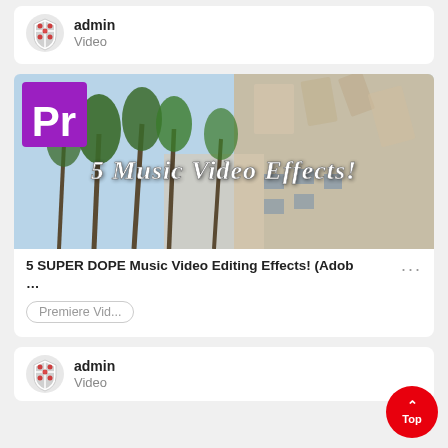admin
Video
[Figure (screenshot): Video thumbnail with Adobe Premiere Pro logo in top-left corner and palm trees/building background with text '5 Music Video Effects!' in cursive white font]
5 SUPER DOPE Music Video Editing Effects! (Adob …
Premiere Vid...
admin
Video